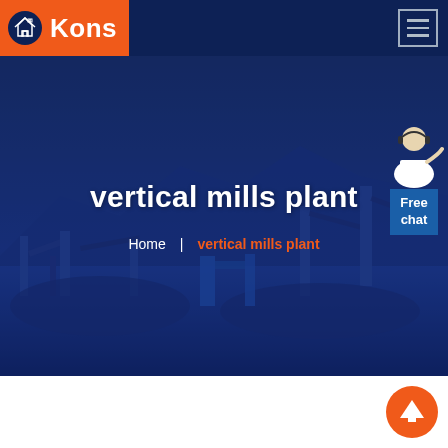[Figure (logo): Kons company logo: house/construction icon in navy circle, white bold text 'Kons' on orange background]
[Figure (screenshot): Website header screenshot showing Kons logo navigation bar, hero section with mining/industrial background, page title 'vertical mills plant', breadcrumb navigation, free chat widget]
vertical mills plant
Home | vertical mills plant